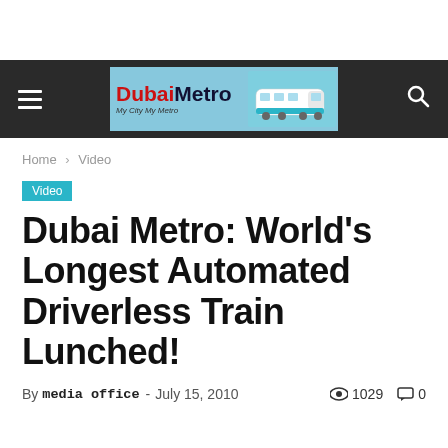[Figure (logo): Dubai Metro website header/navigation bar with hamburger menu, Dubai Metro logo banner featuring train image, and search icon on dark background]
Home › Video
Video
Dubai Metro: World's Longest Automated Driverless Train Lunched!
By media office - July 15, 2010   👁 1029   💬 0